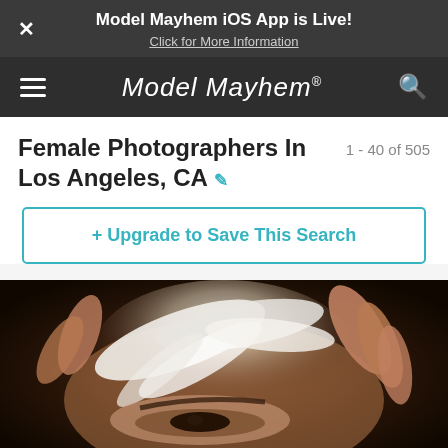Model Mayhem iOS App is Live! Click for More Information
Model Mayhem
Female Photographers In Los Angeles, CA
1 - 40 of 505
+ Upgrade to Save This Search
[Figure (photo): Close-up photograph of a person's eye partially covered by white feathers, with fingers touching the feathers. Dark, artistic lighting with bokeh background.]